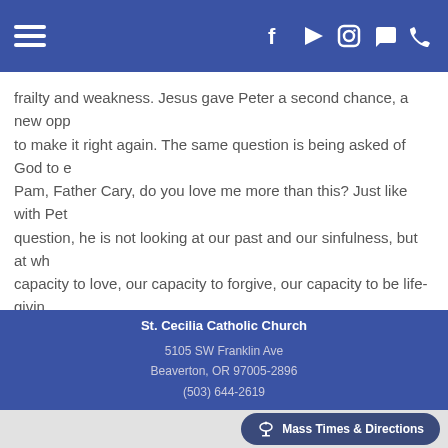Navigation bar with hamburger menu and social icons (Facebook, YouTube, Instagram, chat, phone)
frailty and weakness. Jesus gave Peter a second chance, a new opportunity to make it right again. The same question is being asked of God to each of us: Pam, Father Cary, do you love me more than this? Just like with Peter, in this question, he is not looking at our past and our sinfulness, but at what is our capacity to love, our capacity to forgive, our capacity to be life-giving. I hope that we will be able to respond with Peter - "Yes Lord, you know tha
St. Cecilia Catholic Church
5105 SW Franklin Ave
Beaverton, OR 97005-2896
(503) 644-2619
Mass Times & Directions